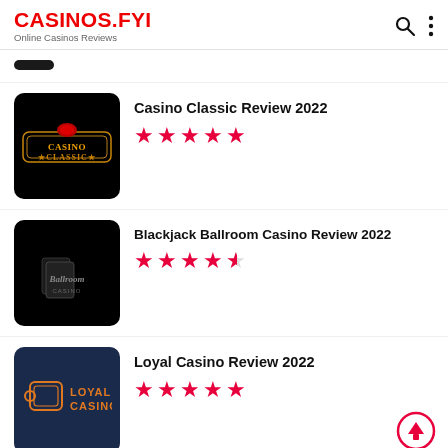CASINOS.FYI — Online Casinos Reviews
[Figure (screenshot): Partially visible dark button at top of listing]
Casino Classic Review 2022 ★★★★★
[Figure (logo): Casino Classic logo — black background with gold/orange Casino Classic text in neon sign style]
Blackjack Ballroom Casino Review 2022 ★★★★½
[Figure (logo): Blackjack Ballroom Casino logo — black background with stylized Ballroom text and playing card imagery]
Loyal Casino Review 2022 ★★★★★
[Figure (logo): Loyal Casino logo — dark navy background with orange outline card/chip icon and LOYAL CASINO text]